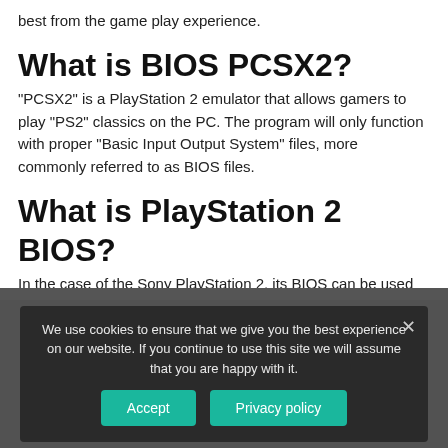best from the game play experience.
What is BIOS PCSX2?
"PCSX2" is a PlayStation 2 emulator that allows gamers to play "PS2" classics on the PC. The program will only function with proper "Basic Input Output System" files, more commonly referred to as BIOS files.
What is PlayStation 2 BIOS?
In the case of the Sony PlayStation 2, its BIOS can be used on a computer in order to play PS2 games you have legally purchased. The PS2 emulator, PCSX2, uses the PS2 BIOS to read games without the actual PS2 console, and loads them using the computer's disk drive.
[Figure (screenshot): Cookie consent overlay on a dark background showing a video thumbnail. The overlay contains a message about cookies, Accept and Privacy policy buttons, and a close X button.]